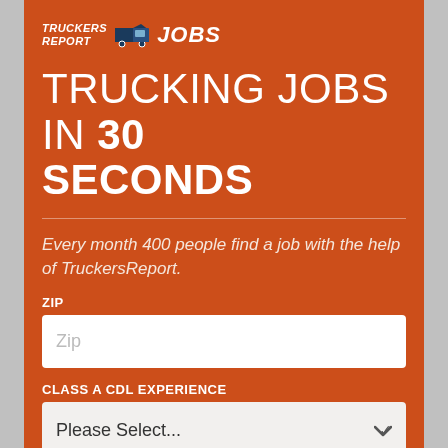[Figure (logo): TruckersReport Jobs logo with truck icon in white italic text on orange background]
TRUCKING JOBS IN 30 SECONDS
Every month 400 people find a job with the help of TruckersReport.
ZIP
Zip (input placeholder)
CLASS A CDL EXPERIENCE
Please Select...
PLEASE SELECT ALL OF YOUR CURRENT, VALID DRIVER'S LICENSES